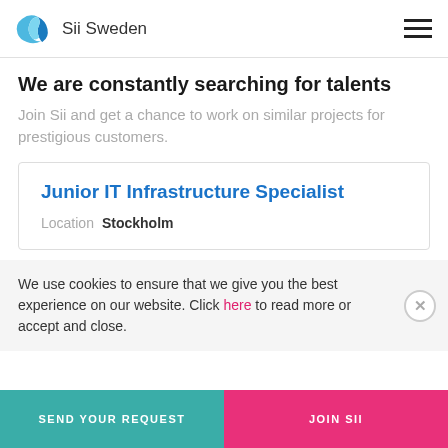Sii Sweden
We are constantly searching for talents
Join Sii and get a chance to work on similar projects for prestigious customers.
Junior IT Infrastructure Specialist
Location   Stockholm
We use cookies to ensure that we give you the best experience on our website. Click here to read more or accept and close.
SEND YOUR REQUEST   JOIN SII